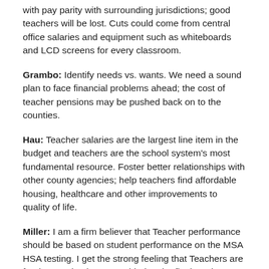with pay parity with surrounding jurisdictions; good teachers will be lost. Cuts could come from central office salaries and equipment such as whiteboards and LCD screens for every classroom.
Grambo: Identify needs vs. wants. We need a sound plan to face financial problems ahead; the cost of teacher pensions may be pushed back on to the counties.
Hau: Teacher salaries are the largest line item in the budget and teachers are the school system's most fundamental resource. Foster better relationships with other county agencies; help teachers find affordable housing, healthcare and other improvements to quality of life.
Miller: I am a firm believer that Teacher performance should be based on student performance on the MSA HSA testing. I get the strong feeling that Teachers are for the paycheck not considering the final product which